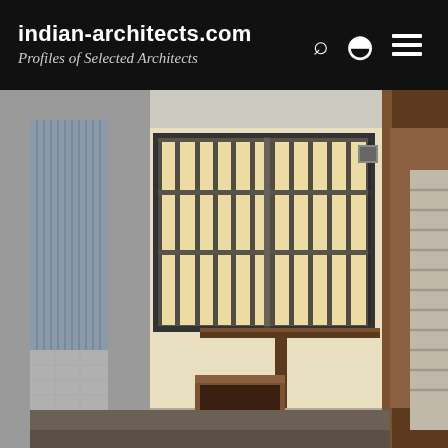indian-architects.com
Profiles of Selected Architects
[Figure (photo): Interior architectural photograph showing a small room or alcove with vertical metal bar grille window letting in diffused light, a wooden desk/shelf unit, a bookcase with open shelves on the lower left, a wooden door frame on the right, and a staircase visible on the far right. Left wall has corrugated metal and textured stone/concrete surfaces.]